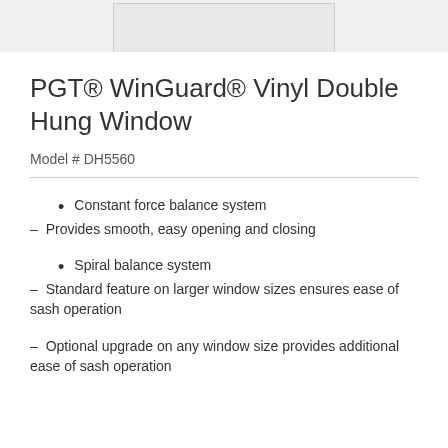[Figure (photo): Partial view of a white vinyl double hung window, showing the bottom portion of the frame against a white background.]
PGT® WinGuard® Vinyl Double Hung Window
Model # DH5560
Constant force balance system
– Provides smooth, easy opening and closing
Spiral balance system
– Standard feature on larger window sizes ensures ease of sash operation
– Optional upgrade on any window size provides additional ease of sash operation